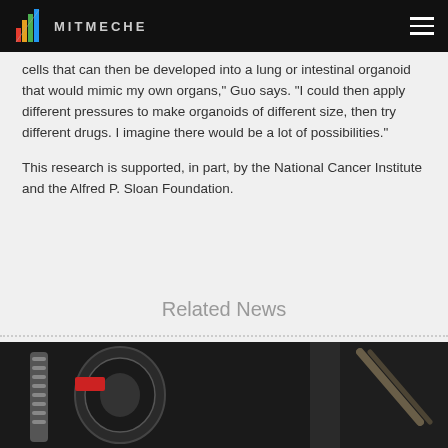MITMECHE
cells that can then be developed into a lung or intestinal organoid that would mimic my own organs,” Guo says. “I could then apply different pressures to make organoids of different size, then try different drugs. I imagine there would be a lot of possibilities.”
This research is supported, in part, by the National Cancer Institute and the Alfred P. Sloan Foundation.
Related News
[Figure (photo): Photograph showing mechanical components including springs, metal cylinders, and a dark background with a person partially visible on the right side.]